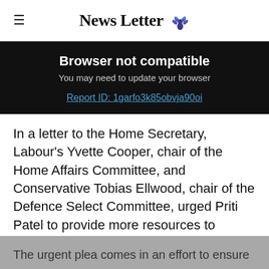≡  News Letter 🦚
Browser not compatible
You may need to update your browser
Report ID: 1garfo3k85obvja90oi
In a letter to the Home Secretary, Labour's Yvette Cooper, chair of the Home Affairs Committee, and Conservative Tobias Ellwood, chair of the Defence Select Committee, urged Priti Patel to provide more resources to support issuing visas.
The urgent plea comes in an effort to ensure